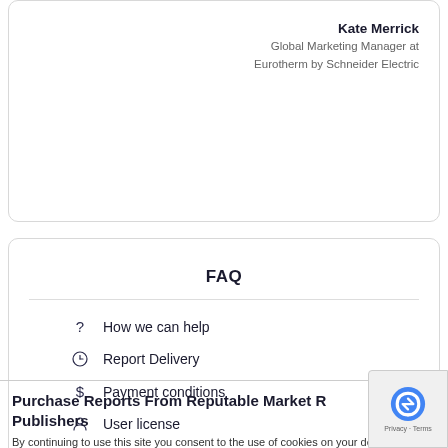Kate Merrick
Global Marketing Manager at Eurotherm by Schneider Electric
FAQ
How we can help
Report Delivery
Payment conditions
User license
Purchase Reports From Reputable Market Publishers
By continuing to use this site you consent to the use of cookies on your device as described in our Cookie Policy unless you have disabled them.